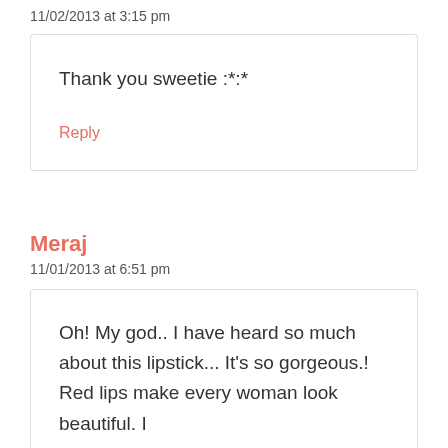11/02/2013 at 3:15 pm
Thank you sweetie :*:*
Reply
Meraj
11/01/2013 at 6:51 pm
Oh! My god.. I have heard so much about this lipstick... It's so gorgeous.! Red lips make every woman look beautiful. I